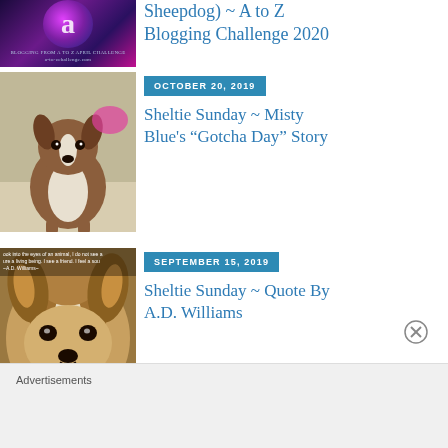[Figure (photo): A to Z Blogging Challenge 2020 logo with purple/galaxy background and letter A]
Sheepdog) ~ A to Z Blogging Challenge 2020
[Figure (photo): Shetland sheepdog puppy sitting on a light gray floor]
OCTOBER 20, 2019
Sheltie Sunday ~ Misty Blue’s “Gotcha Day” Story
[Figure (photo): Close-up of a Sheltie dog's face with a quote overlay about animals]
SEPTEMBER 15, 2019
Sheltie Sunday ~ Quote By A.D. Williams
Advertisements